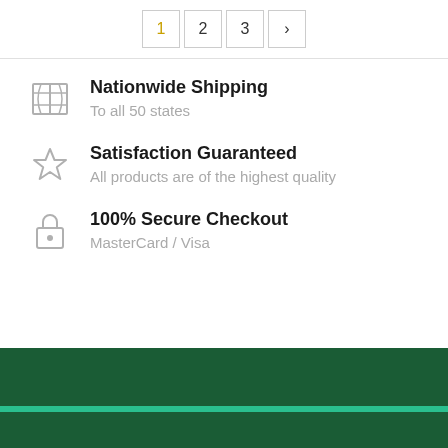[Figure (other): Pagination control showing page buttons 1 (active, gold), 2, 3, and a next arrow]
Nationwide Shipping — To all 50 states
Satisfaction Guaranteed — All products are of the highest quality
100% Secure Checkout — MasterCard / Visa
[Figure (other): Dark green footer bar with teal accent stripe]